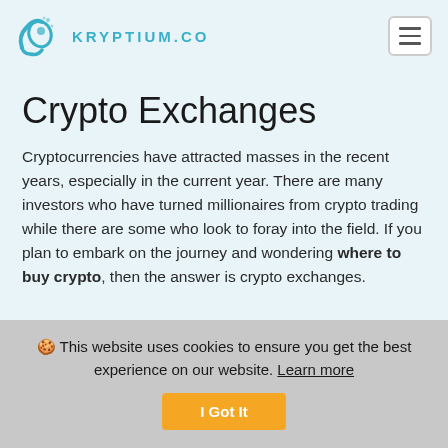KRYPTIUM.CO
Crypto Exchanges
Cryptocurrencies have attracted masses in the recent years, especially in the current year. There are many investors who have turned millionaires from crypto trading while there are some who look to foray into the field. If you plan to embark on the journey and wondering where to buy crypto, then the answer is crypto exchanges.
🍪 This website uses cookies to ensure you get the best experience on our website. Learn more I Got It